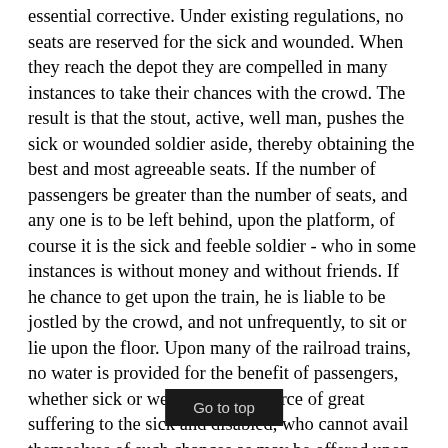essential corrective. Under existing regulations, no seats are reserved for the sick and wounded. When they reach the depot they are compelled in many instances to take their chances with the crowd. The result is that the stout, active, well man, pushes the sick or wounded soldier aside, thereby obtaining the best and most agreeable seats. If the number of passengers be greater than the number of seats, and any one is to be left behind, upon the platform, of course it is the sick and feeble soldier - who in some instances is without money and without friends. If he chance to get upon the train, he is liable to be jostled by the crowd, and not unfrequently, to sit or lie upon the floor. Upon many of the railroad trains, no water is provided for the benefit of passengers, whether sick or well. This is a source of great suffering to the sick and disabled, who cannot avail themselves of such chances as may be offered upon the route, to obtain water. From this cause, they are often for hours, compelled to do without it. This is all wrong, and to say the least of it, is not very complimentary to the humanity and diligence of railroad mangers, agents and conductors. Your Committee, therefore, recommend, that all railroad agents and conductors shall be required to reserve the seats in one or more cars, as the necessities of the case may be, for the benefit of the sick and wounded, and that no person not sick or wounded shall be permitted to enter the